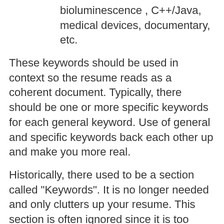bioluminescence , C++/Java, medical devices, documentary, etc.
These keywords should be used in context so the resume reads as a coherent document. Typically, there should be one or more specific keywords for each general keyword. Use of general and specific keywords back each other up and make you more real.
Historically, there used to be a section called "Keywords". It is no longer needed and only clutters up your resume. This section is often ignored since it is too easy to "pack" irrelevant words into this section.
4. Legal issues
In North America, the resume should not mention age, race, gender, disabilities, family status, or anything else not relevant to your fulfilling the employer's needs. For example, your date of birth, or the date of your